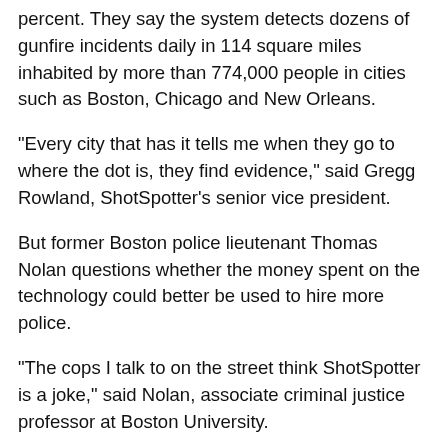percent. They say the system detects dozens of gunfire incidents daily in 114 square miles inhabited by more than 774,000 people in cities such as Boston, Chicago and New Orleans.
"Every city that has it tells me when they go to where the dot is, they find evidence," said Gregg Rowland, ShotSpotter's senior vice president.
But former Boston police lieutenant Thomas Nolan questions whether the money spent on the technology could better be used to hire more police.
"The cops I talk to on the street think ShotSpotter is a joke," said Nolan, associate criminal justice professor at Boston University.
A square-mile of ShotSpotter coverage costs $200,000 to $250,000 the company said.